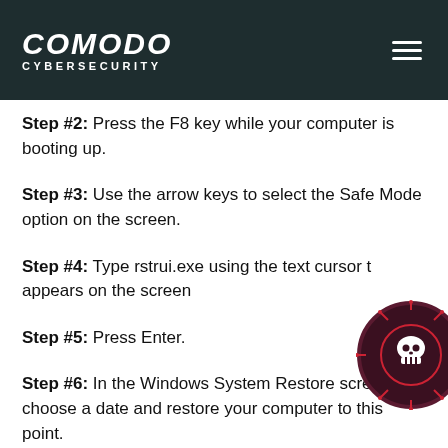COMODO CYBERSECURITY
Step #2: Press the F8 key while your computer is booting up.
Step #3: Use the arrow keys to select the Safe Mode option on the screen.
[Figure (illustration): Cybersecurity icon badge with skull and circuit pattern on dark red/maroon background, partially visible at right edge]
Step #4: Type rstrui.exe using the text cursor that appears on the screen
Step #5: Press Enter.
Step #6: In the Windows System Restore screen, choose a date and restore your computer to this point.
Step #7: Using another device, download a